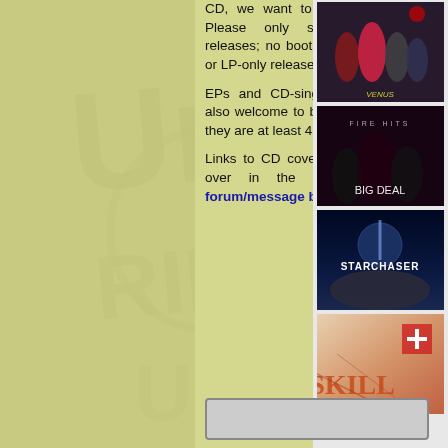CD, we want to add it to the site. Please only submit official CD releases; no bootlegs or cassette-only or LP-only releases.
EPs and CD-singles from I-Ten are also welcome to be added, as long as they are at least 4 songs in length.
Links to CD cover art can be posted over in the Heavy Harmonies forum/message board.
[Figure (photo): Album cover showing female music group in colorful outfits]
[Figure (photo): Album cover showing music group seated in dark setting]
[Figure (photo): Album cover with text STARCHASER showing space/planet scene]
[Figure (photo): Album cover with stylized text SKILL in orange/marble design]